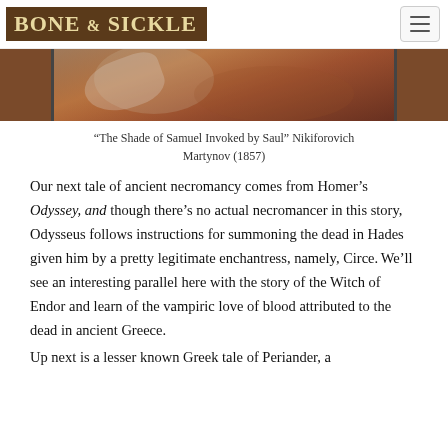BONE & SICKLE
[Figure (photo): Painting detail showing figures in warm reddish-brown tones, partially cropped]
“The Shade of Samuel Invoked by Saul” Nikiforovich Martynov (1857)
Our next tale of ancient necromancy comes from Homer’s Odyssey, and though there’s no actual necromancer in this story, Odysseus follows instructions for summoning the dead in Hades given him by a pretty legitimate enchantress, namely, Circe. We’ll see an interesting parallel here with the story of the Witch of Endor and learn of the vampiric love of blood attributed to the dead in ancient Greece.
Up next is a lesser known Greek tale of Periander, a